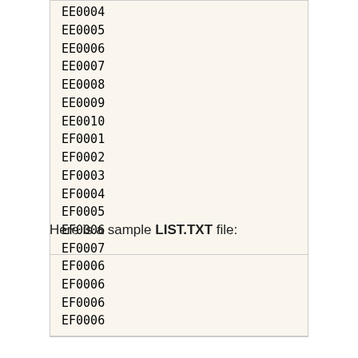EE0004
EE0005
EE0006
EE0007
EE0008
EE0009
EE0010
EF0001
EF0002
EF0003
EF0004
EF0005
EF0006
EF0007
EF0008
EF0009
EF0010
END
Here is a sample LIST.TXT file:
EF0006
EF0006
EF0006
EF0006